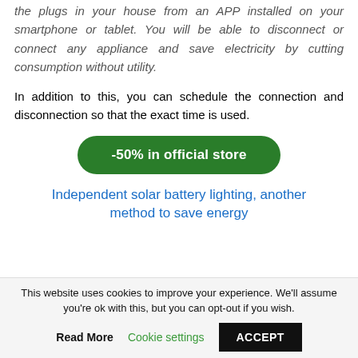the plugs in your house from an APP installed on your smartphone or tablet. You will be able to disconnect or connect any appliance and save electricity by cutting consumption without utility.
In addition to this, you can schedule the connection and disconnection so that the exact time is used.
-50% in official store
Independent solar battery lighting, another method to save energy
This website uses cookies to improve your experience. We'll assume you're ok with this, but you can opt-out if you wish.
Read More   Cookie settings   ACCEPT